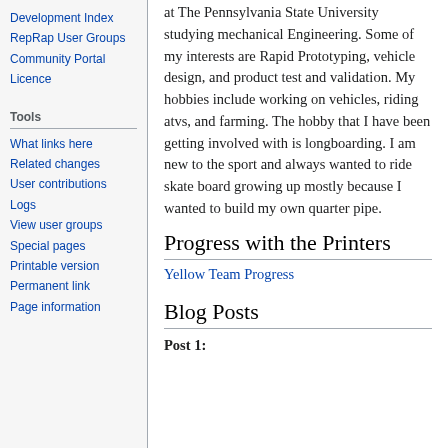Development Index
RepRap User Groups
Community Portal
Licence
Tools
What links here
Related changes
User contributions
Logs
View user groups
Special pages
Printable version
Permanent link
Page information
at The Pennsylvania State University studying mechanical Engineering. Some of my interests are Rapid Prototyping, vehicle design, and product test and validation. My hobbies include working on vehicles, riding atvs, and farming. The hobby that I have been getting involved with is longboarding. I am new to the sport and always wanted to ride skate board growing up mostly because I wanted to build my own quarter pipe.
Progress with the Printers
Yellow Team Progress
Blog Posts
Post 1: